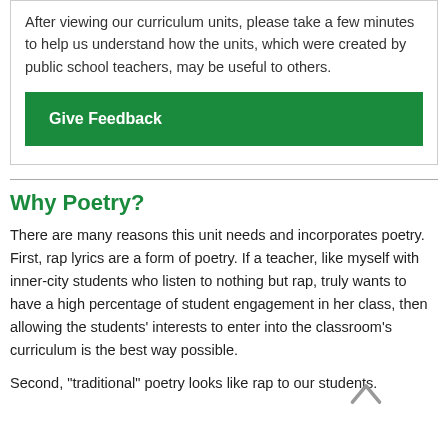After viewing our curriculum units, please take a few minutes to help us understand how the units, which were created by public school teachers, may be useful to others.
Give Feedback
Why Poetry?
There are many reasons this unit needs and incorporates poetry. First, rap lyrics are a form of poetry. If a teacher, like myself with inner-city students who listen to nothing but rap, truly wants to have a high percentage of student engagement in her class, then allowing the students' interests to enter into the classroom's curriculum is the best way possible.
Second, "traditional" poetry looks like rap to our students.